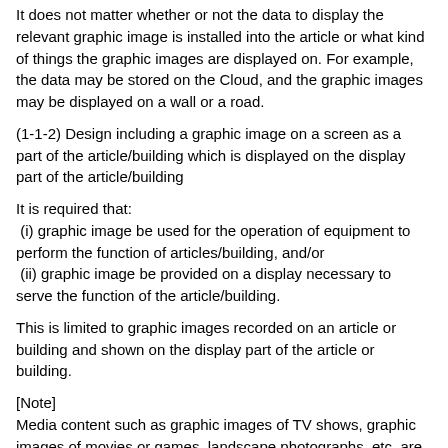It does not matter whether or not the data to display the relevant graphic image is installed into the article or what kind of things the graphic images are displayed on. For example, the data may be stored on the Cloud, and the graphic images may be displayed on a wall or a road.
(1-1-2) Design including a graphic image on a screen as a part of the article/building which is displayed on the display part of the article/building
It is required that:
 (i) graphic image be used for the operation of equipment to perform the function of articles/building, and/or
 (ii) graphic image be provided on a display necessary to serve the function of the article/building.
This is limited to graphic images recorded on an article or building and shown on the display part of the article or building.
[Note]
Media content such as graphic images of TV shows, graphic images of movies or games, landscape photographs, etc. are not found to be designs under the Design Act.